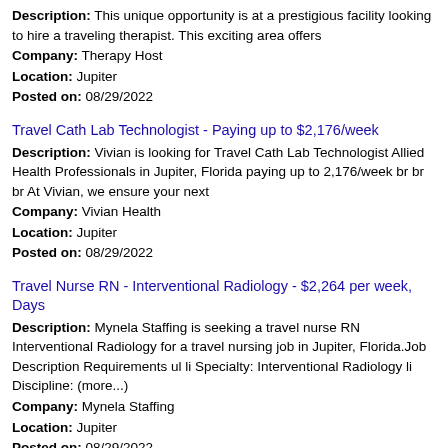Description: This unique opportunity is at a prestigious facility looking to hire a traveling therapist. This exciting area offers
Company: Therapy Host
Location: Jupiter
Posted on: 08/29/2022
Travel Cath Lab Technologist - Paying up to $2,176/week
Description: Vivian is looking for Travel Cath Lab Technologist Allied Health Professionals in Jupiter, Florida paying up to 2,176/week br br br At Vivian, we ensure your next
Company: Vivian Health
Location: Jupiter
Posted on: 08/29/2022
Travel Nurse RN - Interventional Radiology - $2,264 per week, Days
Description: Mynela Staffing is seeking a travel nurse RN Interventional Radiology for a travel nursing job in Jupiter, Florida.Job Description Requirements ul li Specialty: Interventional Radiology li Discipline: (more...)
Company: Mynela Staffing
Location: Jupiter
Posted on: 08/29/2022